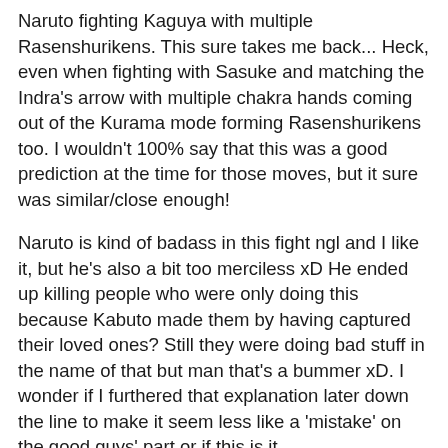Naruto fighting Kaguya with multiple Rasenshurikens. This sure takes me back... Heck, even when fighting with Sasuke and matching the Indra's arrow with multiple chakra hands coming out of the Kurama mode forming Rasenshurikens too. I wouldn't 100% say that this was a good prediction at the time for those moves, but it sure was similar/close enough!
Naruto is kind of badass in this fight ngl and I like it, but he's also a bit too merciless xD He ended up killing people who were only doing this because Kabuto made them by having captured their loved ones? Still they were doing bad stuff in the name of that but man that's a bummer xD. I wonder if I furthered that explanation later down the line to make it seem less like a 'mistake' on the good guys' part or if this is it.
Naruto getting poisoned is such a dramatical effect for the sake of drama, lol. I mean it was fair the way it was done but still, if the manga had shown Naruto cooperating with Kurama at the time and I had incorporated that here, he would definitely have told Naruto somehow earlier and probably prevented this, lol, but I do recall needing one chapter as a 'break' before the next big fight and to develop the characters